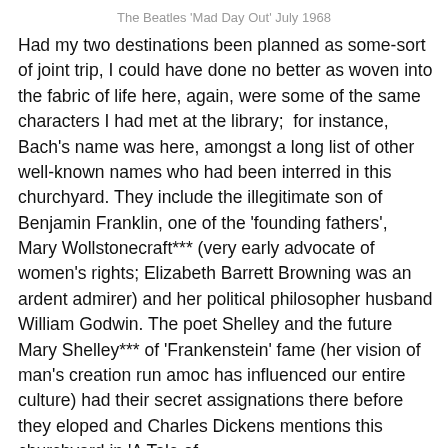The Beatles 'Mad Day Out' July 1968
Had my two destinations been planned as some-sort of joint trip, I could have done no better as woven into the fabric of life here, again, were some of the same characters I had met at the library;  for instance, Bach's name was here, amongst a long list of other well-known names who had been interred in this churchyard. They include the illegitimate son of Benjamin Franklin, one of the 'founding fathers',   Mary Wollstonecraft*** (very early advocate of women's rights; Elizabeth Barrett Browning was an ardent admirer) and her political philosopher husband William Godwin. The poet Shelley and the future Mary Shelley*** of 'Frankenstein' fame (her vision of man's creation run amoc has influenced our entire culture) had their secret assignations there before they eloped and Charles Dickens mentions this churchyard in 'A Tale of